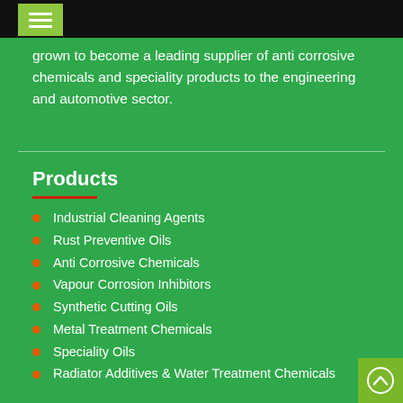grown to become a leading supplier of anti corrosive chemicals and speciality products to the engineering and automotive sector.
Products
Industrial Cleaning Agents
Rust Preventive Oils
Anti Corrosive Chemicals
Vapour Corrosion Inhibitors
Synthetic Cutting Oils
Metal Treatment Chemicals
Speciality Oils
Radiator Additives & Water Treatment Chemicals